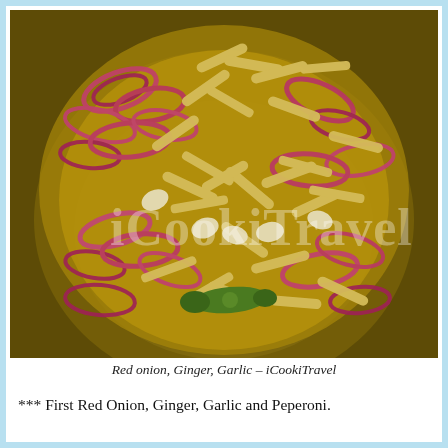[Figure (photo): Overhead view of a metal bowl containing sliced red onion, julienned ginger, and garlic cloves with a green chili pepper, with a watermark text 'iCookiTravel' overlaid on the image.]
Red onion, Ginger, Garlic – iCookiTravel
*** First Red Onion, Ginger, Garlic and Peperoni.